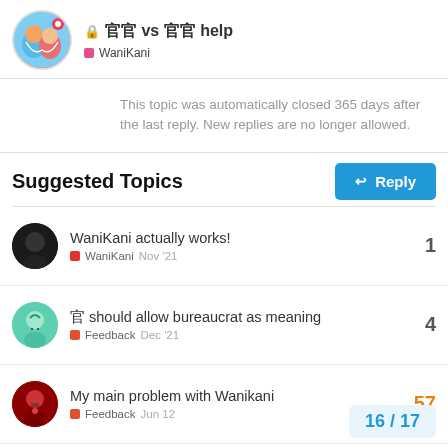🔒 官官 vs 官官 help — WaniKani
This topic was automatically closed 365 days after the last reply. New replies are no longer allowed.
Suggested Topics
WaniKani actually works! — WaniKani — 1 — Nov '21
官 should allow bureaucrat as meaning — Feedback — 4 — Dec '21
My main problem with Wanikani — Feedback — 57 — Jun 12
Beginner manga to read in Japanese and where to read them? — 20